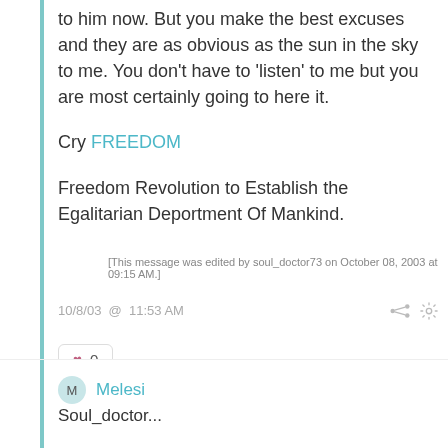to him now. But you make the best excuses and they are as obvious as the sun in the sky to me. You don't have to 'listen' to me but you are most certainly going to here it.
Cry FREEDOM
Freedom Revolution to Establish the Egalitarian Deportment Of Mankind.
[This message was edited by soul_doctor73 on October 08, 2003 at 09:15 AM.]
10/8/03  @  11:53 AM
♥ 0
M  Melesi
Soul_doctor...